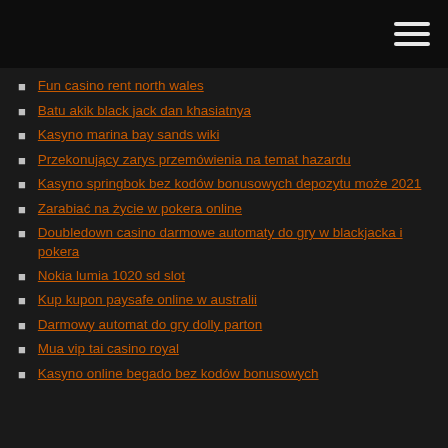Fun casino rent north wales
Batu akik black jack dan khasiatnya
Kasyno marina bay sands wiki
Przekonujący zarys przemówienia na temat hazardu
Kasyno springbok bez kodów bonusowych depozytu może 2021
Zarabiać na życie w pokera online
Doubledown casino darmowe automaty do gry w blackjacka i pokera
Nokia lumia 1020 sd slot
Kup kupon paysafe online w australii
Darmowy automat do gry dolly parton
Mua vip tai casino royal
Kasyno online begado bez kodów bonusowych